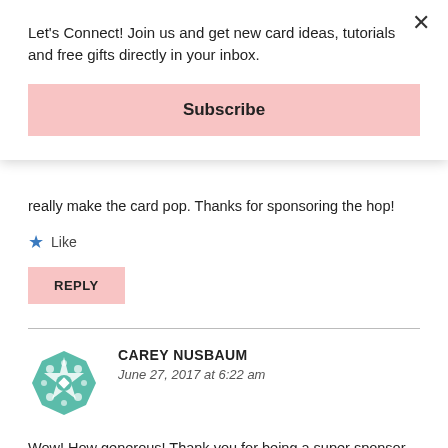Let's Connect! Join us and get new card ideas, tutorials and free gifts directly in your inbox.
Subscribe
really make the card pop. Thanks for sponsoring the hop!
Like
REPLY
[Figure (logo): Teal/green geometric flower/mandala avatar icon for user Carey Nusbaum]
CAREY NUSBAUM
June 27, 2017 at 6:22 am
Wow! How generous! Thank you for being a super sponsor and